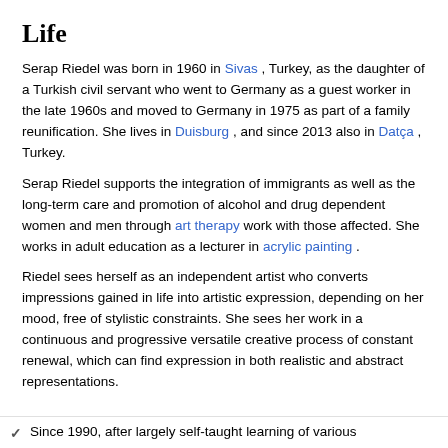Life
Serap Riedel was born in 1960 in Sivas , Turkey, as the daughter of a Turkish civil servant who went to Germany as a guest worker in the late 1960s and moved to Germany in 1975 as part of a family reunification. She lives in Duisburg , and since 2013 also in Datça , Turkey.
Serap Riedel supports the integration of immigrants as well as the long-term care and promotion of alcohol and drug dependent women and men through art therapy work with those affected. She works in adult education as a lecturer in acrylic painting .
Riedel sees herself as an independent artist who converts impressions gained in life into artistic expression, depending on her mood, free of stylistic constraints. She sees her work in a continuous and progressive versatile creative process of constant renewal, which can find expression in both realistic and abstract representations.
Since 1990, after largely self-taught learning of various